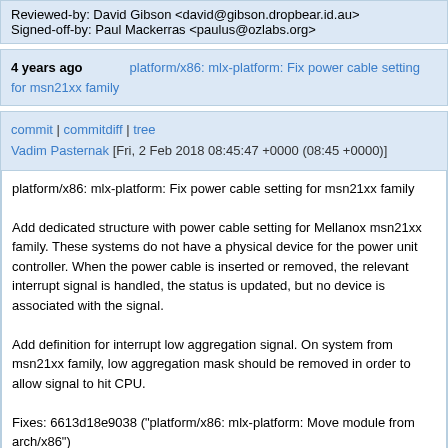Reviewed-by: David Gibson <david@gibson.dropbear.id.au>
Signed-off-by: Paul Mackerras <paulus@ozlabs.org>
4 years ago    platform/x86: mlx-platform: Fix power cable setting for msn21xx family
commit | commitdiff | tree
Vadim Pasternak [Fri, 2 Feb 2018 08:45:47 +0000 (08:45 +0000)]
platform/x86: mlx-platform: Fix power cable setting for msn21xx family

Add dedicated structure with power cable setting for Mellanox msn21xx family. These systems do not have a physical device for the power unit controller. When the power cable is inserted or removed, the relevant interrupt signal is handled, the status is updated, but no device is associated with the signal.

Add definition for interrupt low aggregation signal. On system from msn21xx family, low aggregation mask should be removed in order to allow signal to hit CPU.

Fixes: 6613d18e9038 ("platform/x86: mlx-platform: Move module from arch/x86")